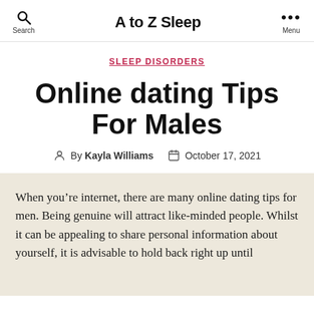A to Z Sleep
SLEEP DISORDERS
Online dating Tips For Males
By Kayla Williams   October 17, 2021
When you’re internet, there are many online dating tips for men. Being genuine will attract like-minded people. Whilst it can be appealing to share personal information about yourself, it is advisable to hold back right up until